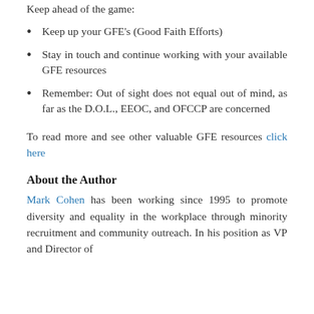Keep ahead of the game:
Keep up your GFE's (Good Faith Efforts)
Stay in touch and continue working with your available GFE resources
Remember: Out of sight does not equal out of mind, as far as the D.O.L., EEOC, and OFCCP are concerned
To read more and see other valuable GFE resources click here
About the Author
Mark Cohen has been working since 1995 to promote diversity and equality in the workplace through minority recruitment and community outreach. In his position as VP and Director of